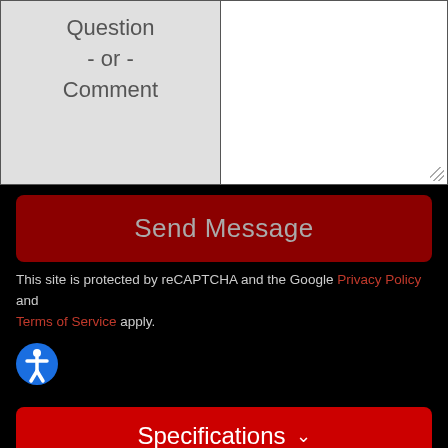Question
- or -
Comment
Send Message
This site is protected by reCAPTCHA and the Google Privacy Policy and Terms of Service apply.
[Figure (illustration): Blue circular accessibility icon with white accessibility figure]
Specifications
DEALER INFORMATION
Trailer Country, Inc.